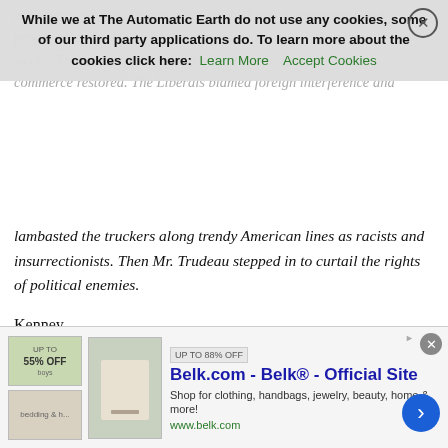emergency powers. Ottawa's police chief was a progressive and progressives do. He let protesters violate the law with impunity—for weeks. This exasperated Canadians who wanted order and commerce restored. The Liberals blamed foreign interference and
Cookie banner: While we at The Automatic Earth do not use any cookies, some of our third party applications do. To learn more about the cookies click here: Learn More   Accept Cookies
lambasted the truckers along trendy American lines as racists and insurrectionists. Then Mr. Trudeau stepped in to curtail the rights of political enemies.
Kenney
Premier of Alberta, Canada (Jason Kenney) rejects Justin Trudeau and Klaus Schwab and the entire set of proposals referred to in 'The Great Reset'.
Sound ON pic.twitter.com/jftbEmp9DN
— Wall Street Silver (@WallStreetSilv) February 22, 2022
[Figure (screenshot): Advertisement banner for Belk.com - Belk Official Site. Shows product images on left, bold blue title 'Belk.com - Belk® - Official Site', subtext 'Shop for clothing, handbags, jewelry, beauty, home & more!', green URL 'www.belk.com', blue arrow button on right, close X button top right.]